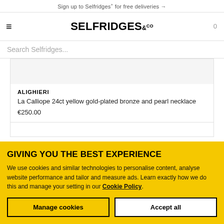Sign up to Selfridges+ for free deliveries →
[Figure (logo): Selfridges & Co logo with hamburger menu and cart icon]
Search Selfridges...
ALIGHIERI
La Calliope 24ct yellow gold-plated bronze and pearl necklace
€250.00
GIVING YOU THE BEST EXPERIENCE
We use cookies and similar technologies to personalise content, analyse website performance and tailor and measure ads. Learn exactly how we do this and manage your setting in our Cookie Policy.
Manage cookies
Accept all